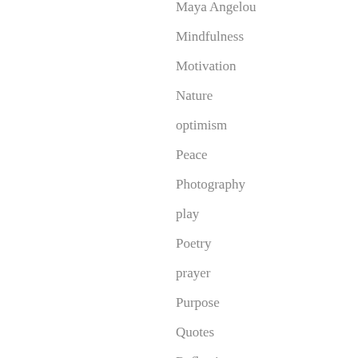Maya Angelou
Mindfulness
Motivation
Nature
optimism
Peace
Photography
play
Poetry
prayer
Purpose
Quotes
Reflection
Relationships
Running
Samoyed
Seasons
Spring
Story